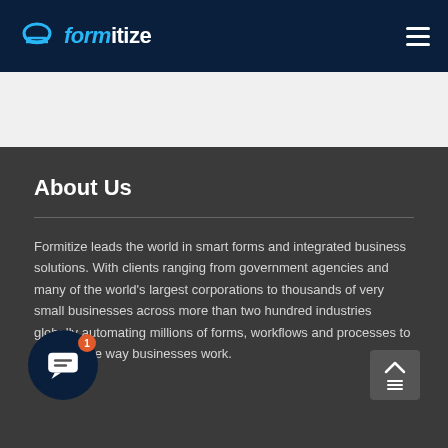formitize
About Us
Formitize leads the world in smart forms and integrated business solutions. With clients ranging from government agencies and many of the world’s largest corporations to thousands of very small businesses across more than two hundred industries globally automating millions of forms, workflows and processes to improve the way businesses work.